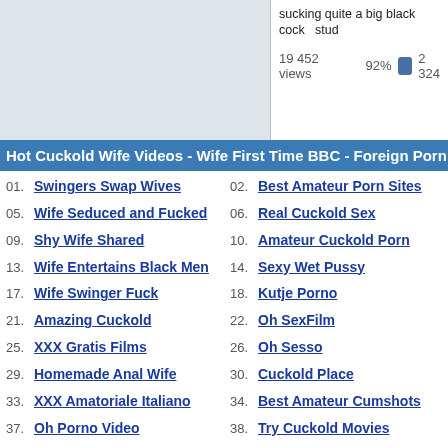sucking quite a big black cock   stud
19 452 views   92%  2 324
Hot Cuckold Wife Videos - Wife First Time BBC - Foreign Porn Sites
01. Swingers Swap Wives
02. Best Amateur Porn Sites
05. Wife Seduced and Fucked
06. Real Cuckold Sex
09. Shy Wife Shared
10. Amateur Cuckold Porn
13. Wife Entertains Black Men
14. Sexy Wet Pussy
17. Wife Swinger Fuck
18. Kutje Porno
21. Amazing Cuckold
22. Oh SexFilm
25. XXX Gratis Films
26. Oh Sesso
29. Homemade Anal Wife
30. Cuckold Place
33. XXX Amatoriale Italiano
34. Best Amateur Cumshots
37. Oh Porno Video
38. Try Cuckold Movies
41. Amateur Anal Videos
42. Amateur Interracial Porn
45. El Porno Amateur
46. Bedste Gratis Porno
49. Cuckold Wife Sex
50. Hot Amateur Blowjobs
53. Wild Free Videos
54. Dirty Home Fuck